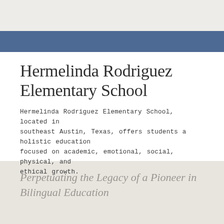Hermelinda Rodriguez Elementary School
Hermelinda Rodriguez Elementary School, located in southeast Austin, Texas, offers students a holistic education focused on academic, emotional, social, physical, and ethical growth.
Perpetuating the Legacy of a Pioneer in Bilingual Education